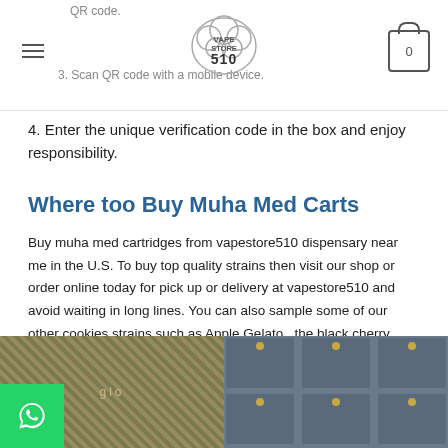QR code. | Scan QR code with a mobile device. | Vape Store 510 logo | Cart: 0
4. Enter the unique verification code in the box and enjoy responsibility.
Where too Buy Muha Med Carts
Buy muha med cartridges from vapestore510 dispensary near me in the U.S. To buy top quality strains then visit our shop or order online today for pick up or delivery at vapestore510 and avoid waiting in long lines. You can also sample some of our other cookies strains such as Apple Gelato , the black cherry gelato strain .
[Figure (photo): Product photo showing dark patterned packaging (glo branding) with WhatsApp icon overlay at bottom left]
[Figure (photo): Product photo showing dark bluish rectangular packaging items arranged in grid]